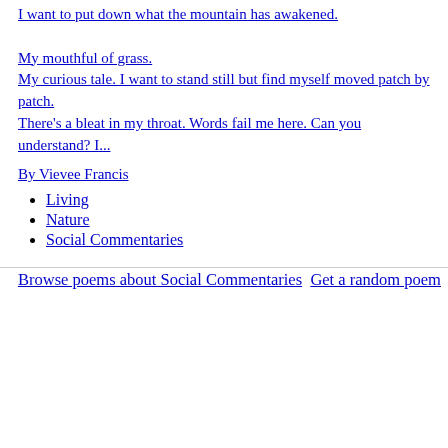I want to put down what the mountain has awakened.

My mouthful of grass.
My curious tale. I want to stand still but find myself moved patch by patch.
There's a bleat in my throat. Words fail me here. Can you understand? I...
By Vievee Francis
Living
Nature
Social Commentaries
Browse poems about Social Commentaries  Get a random poem